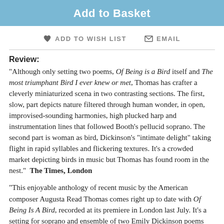Add to Basket
ADD TO WISH LIST   EMAIL
Review:
“Although only setting two poems, Of Being is a Bird itself and The most triumphant Bird I ever knew or met, Thomas has crafter a cleverly miniaturized scena in two contrasting sections.  The first, slow, part depicts nature filtered through human wonder, in open, improvised-sounding harmonies, high plucked harp and instrumentation lines that followed Booth’s pellucid soprano.  The second part is woman as bird, Dickinson’s “intimate delight” taking flight in rapid syllables and flickering textures.  It’s a crowded market depicting birds in music but Thomas has found room in the nest.”  The Times, London
“This enjoyable anthology of recent music by the American composer Augusta Read Thomas comes right up to date with Of Being Is A Bird, recorded at its premiere in London last July. It’s a setting for soprano and ensemble of two Emily Dickinson poems about birds; it begins with airy, luminous